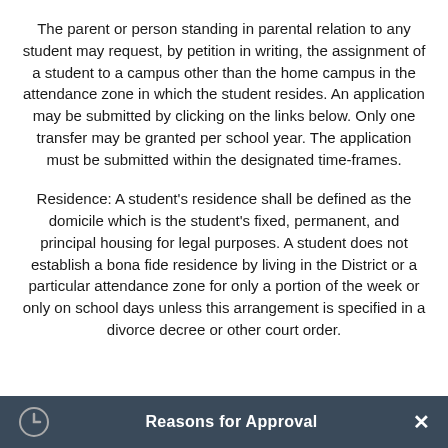The parent or person standing in parental relation to any student may request, by petition in writing, the assignment of a student to a campus other than the home campus in the attendance zone in which the student resides. An application may be submitted by clicking on the links below. Only one transfer may be granted per school year. The application must be submitted within the designated time-frames.
Residence: A student's residence shall be defined as the domicile which is the student's fixed, permanent, and principal housing for legal purposes. A student does not establish a bona fide residence by living in the District or a particular attendance zone for only a portion of the week or only on school days unless this arrangement is specified in a divorce decree or other court order.
Reasons for Approval